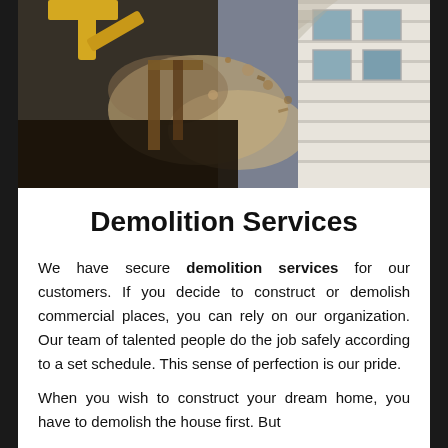[Figure (photo): A building being demolished by heavy machinery. Dust and debris flying as the structure is being torn down. A white brick building is visible on the right side.]
Demolition Services
We have secure demolition services for our customers. If you decide to construct or demolish commercial places, you can rely on our organization. Our team of talented people do the job safely according to a set schedule. This sense of perfection is our pride.
When you wish to construct your dream home, you have to demolish the house first. But